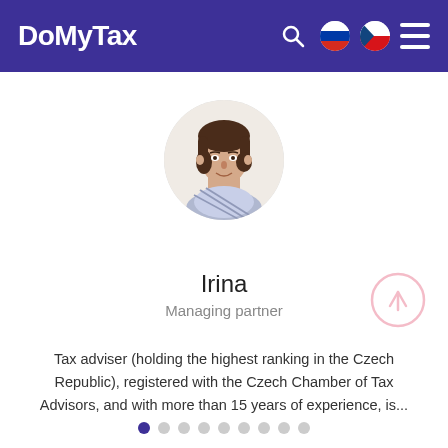DoMyTax
[Figure (photo): Circular profile photo of a woman named Irina with short brown hair, wearing a striped blouse, smiling]
Irina
Managing partner
Tax adviser (holding the highest ranking in the Czech Republic), registered with the Czech Chamber of Tax Advisors, and with more than 15 years of experience, is...